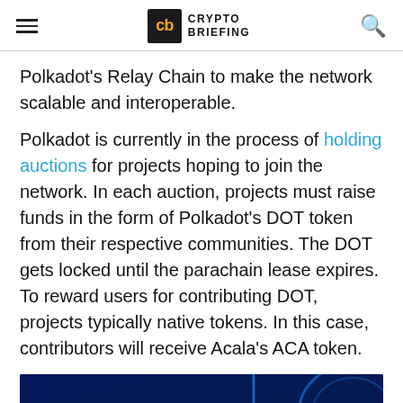Crypto Briefing
Polkadot's Relay Chain to make the network scalable and interoperable.
Polkadot is currently in the process of holding auctions for projects hoping to join the network. In each auction, projects must raise funds in the form of Polkadot's DOT token from their respective communities. The DOT gets locked until the parachain lease expires. To reward users for contributing DOT, projects typically native tokens. In this case, contributors will receive Acala's ACA token.
[Figure (photo): Advertisement or promotional image with dark blue background and yellow text showing percentage numbers, partially visible at bottom of page.]